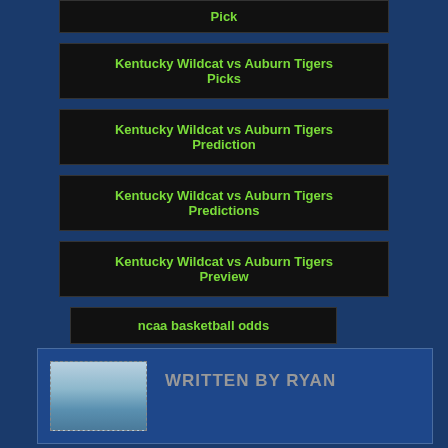Pick
Kentucky Wildcat vs Auburn Tigers Picks
Kentucky Wildcat vs Auburn Tigers Prediction
Kentucky Wildcat vs Auburn Tigers Predictions
Kentucky Wildcat vs Auburn Tigers Preview
ncaa basketball odds
NCAA Basketball Picks
NCAA Basketball Predictions
NCAAB Odds
WRITTEN BY RYAN